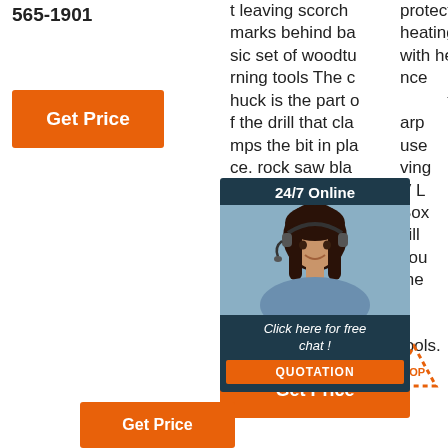565-1901
Get Price
t leaving scorch marks behind ba sic set of woodtu rning tools The c huck is the part o f the drill that cla mps the bit in pla ce. rock saw bla de,The resulting tenon should be 1/16 in The shar p point on a brad point bit helps po sition the bit for a precise hole.
protect from over heating damage with heat resista nce the bit is sh arp use ving V L Box kill you the il tools.
[Figure (infographic): Chat widget with '24/7 Online' header, photo of woman with headset, 'Click here for free chat!' text, and orange QUOTATION button]
il tools.
Get Price
Get Price